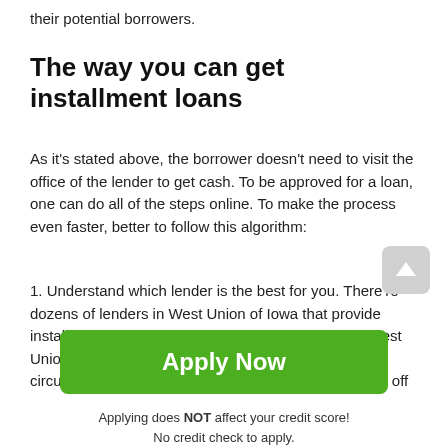their potential borrowers.
The way you can get installment loans
As it's stated above, the borrower doesn't need to visit the office of the lender to get cash. To be approved for a loan, one can do all of the steps online. To make the process even faster, better to follow this algorithm:
1. Understand which lender is the best for you. There're dozens of lenders in West Union of Iowa that provide installment loans. That's why if you want to borrow West Union installment loans online with the most profitable circumstances and avoid having troubles while paying off
Apply Now
Applying does NOT affect your credit score!
No credit check to apply.